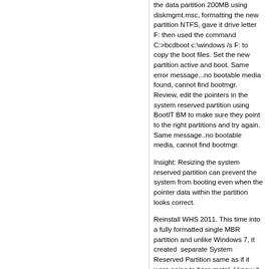the data partition 200MB using diskmgmt.msc, formatting the new partition NTFS, gave it drive letter F: then used the command C:>bcdboot c:\windows /s F: to copy the boot files. Set the new partition active and boot. Same error message...no bootable media found, cannot find bootmgr. Review, edit the pointers in the system reserved partition using BootIT BM to make sure they point to the right partitions and try again.  Same message..no bootable media, cannot find bootmgr.
Insight: Resizing the system reserved partition can prevent the system from booting even when the pointer data within the partition looks correct.
Reinstall WHS 2011. This time into a fully formatted single MBR partition and unlike Windows 7, it created  separate System Reserved Partition same as if it were going to bare metal. I know it is not supposed to do that but it did.
Here is the zinger: Out of desparation, and before I put any data of any kind